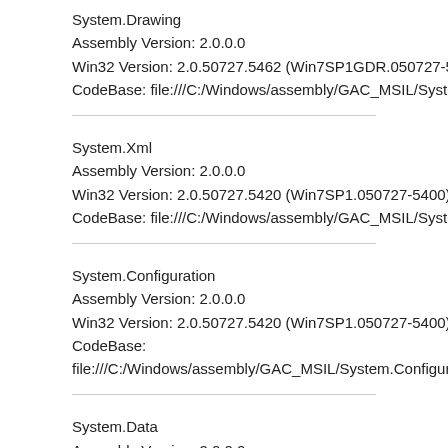System.Drawing
Assembly Version: 2.0.0.0
Win32 Version: 2.0.50727.5462 (Win7SP1GDR.050727-5400)
CodeBase: file:///C:/Windows/assembly/GAC_MSIL/System.Dr
System.Xml
Assembly Version: 2.0.0.0
Win32 Version: 2.0.50727.5420 (Win7SP1.050727-5400)
CodeBase: file:///C:/Windows/assembly/GAC_MSIL/System.Xm
System.Configuration
Assembly Version: 2.0.0.0
Win32 Version: 2.0.50727.5420 (Win7SP1.050727-5400)
CodeBase:
file:///C:/Windows/assembly/GAC_MSIL/System.Configuration/
System.Data
Assembly Version: 2.0.0.0
Win32 Version: 2.0.50727.5420 (Win7SP1.050727-5400)